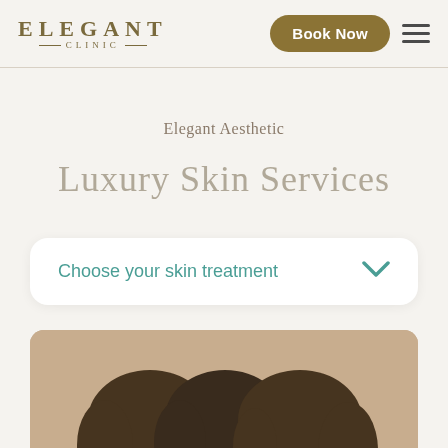ELEGANT CLINIC
Book Now
Elegant Aesthetic
Luxury Skin Services
Choose your skin treatment
[Figure (photo): Three women with glowing skin posing together against a warm beige background, heads close together, showing the results of skin treatments]